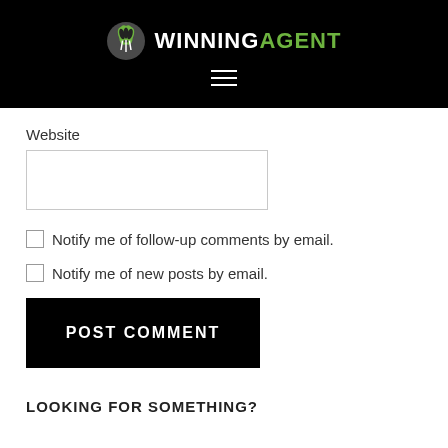[Figure (logo): WinningAgent logo with green and white leaf icon and text WINNING in white, AGENT in green on black background, with hamburger menu icon below]
Website
Notify me of follow-up comments by email.
Notify me of new posts by email.
POST COMMENT
LOOKING FOR SOMETHING?